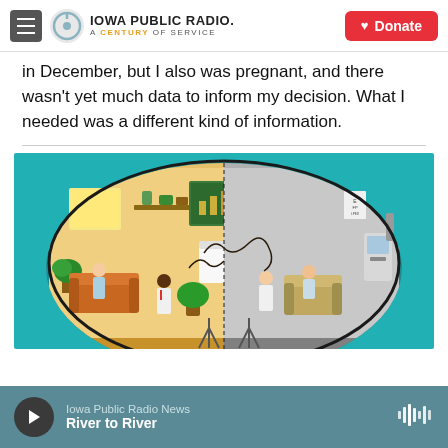Iowa Public Radio. A Century of Service | Donate
in December, but I also was pregnant, and there wasn't yet much data to inform my decision. What I needed was a different kind of information.
[Figure (illustration): Split illustration showing two halves inside an oval: left half depicts a warm, cozy home/office setting with plants, a couch, a doctor or professional in a white coat, a patient in a gown, warm lighting, and a green chalkboard with a presentation; right half depicts a clinical, gray medical exam room with medical equipment, a reclining dental/medical chair, a patient, and a provider.]
Iowa Public Radio News — River to River